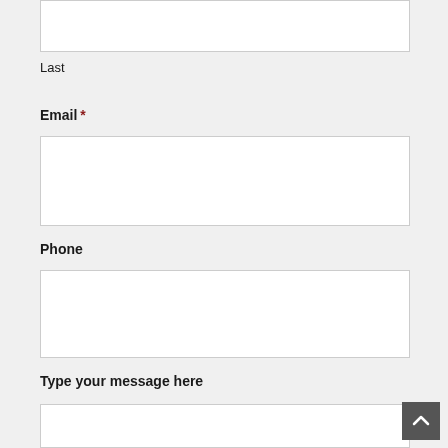[Figure (screenshot): A partially visible form input box at the top of the page (Last name field input area, cropped)]
Last
Email *
[Figure (screenshot): Empty white form input box for Email field]
Phone
[Figure (screenshot): Empty white form input box for Phone field]
Type your message here
[Figure (screenshot): Empty white textarea box for message input]